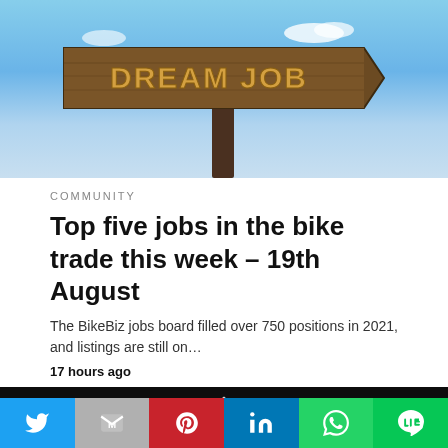[Figure (photo): Wooden directional sign reading 'DREAM JOB' against a blue sky with clouds]
COMMUNITY
Top five jobs in the bike trade this week – 19th August
The BikeBiz jobs board filled over 750 positions in 2021, and listings are still on…
17 hours ago
[Figure (photo): Dark background with white triangle and bicycle icon outline; circular play button in top right corner]
Twitter | Gmail | Pinterest | LinkedIn | WhatsApp | Line social share buttons